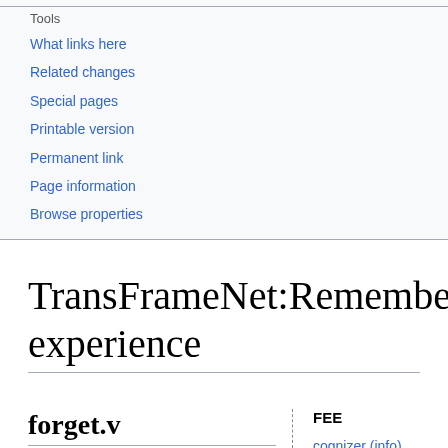Tools
What links here
Related changes
Special pages
Printable version
Permanent link
Page information
Browse properties
TransFrameNet:Remembering experience
forget.v
I shall
FEE
cognizer (info)
context (info)